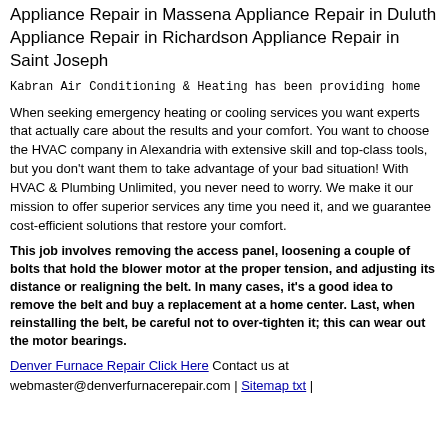Appliance Repair in Massena Appliance Repair in Duluth Appliance Repair in Richardson Appliance Repair in Saint Joseph
Kabran Air Conditioning & Heating has been providing home
When seeking emergency heating or cooling services you want experts that actually care about the results and your comfort. You want to choose the HVAC company in Alexandria with extensive skill and top-class tools, but you don't want them to take advantage of your bad situation! With HVAC & Plumbing Unlimited, you never need to worry. We make it our mission to offer superior services any time you need it, and we guarantee cost-efficient solutions that restore your comfort.
This job involves removing the access panel, loosening a couple of bolts that hold the blower motor at the proper tension, and adjusting its distance or realigning the belt. In many cases, it's a good idea to remove the belt and buy a replacement at a home center. Last, when reinstalling the belt, be careful not to over-tighten it; this can wear out the motor bearings.
Denver Furnace Repair Click Here Contact us at webmaster@denverfurnacerepair.com | Sitemap txt |